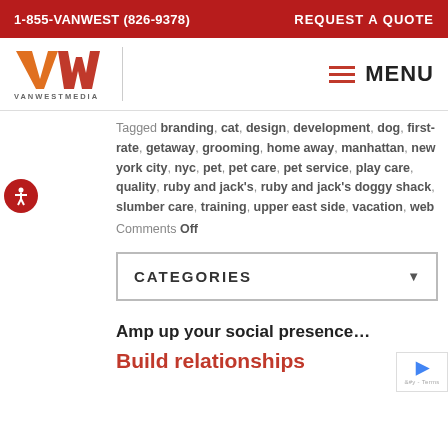1-855-VANWEST (826-9378)   REQUEST A QUOTE
[Figure (logo): VanWest Media logo with orange and red VWM letters and VANWESTMEDIA text below]
MENU
Tagged branding, cat, design, development, dog, first-rate, getaway, grooming, home away, manhattan, new york city, nyc, pet, pet care, pet service, play care, quality, ruby and jack's, ruby and jack's doggy shack, slumber care, training, upper east side, vacation, web
Comments Off
CATEGORIES
Amp up your social presence...
Build relationships